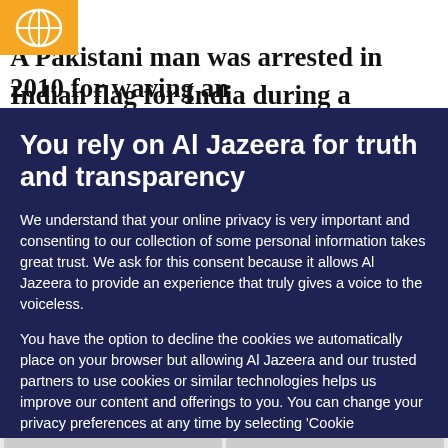A Pakistani man was arrested in 2010 for waving an Indian flag for India during a Hockey World...
You rely on Al Jazeera for truth and transparency
We understand that your online privacy is very important and consenting to our collection of some personal information takes great trust. We ask for this consent because it allows Al Jazeera to provide an experience that truly gives a voice to the voiceless.
You have the option to decline the cookies we automatically place on your browser but allowing Al Jazeera and our trusted partners to use cookies or similar technologies helps us improve our content and offerings to you. You can change your privacy preferences at any time by selecting ‘Cookie preferences’ at the bottom of your screen. To learn more, please view our Cookie Policy.